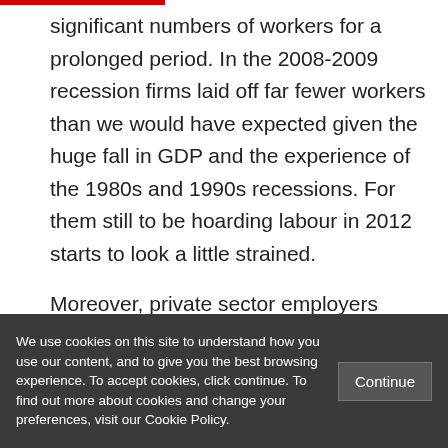significant numbers of workers for a prolonged period. In the 2008-2009 recession firms laid off far fewer workers than we would have expected given the huge fall in GDP and the experience of the 1980s and 1990s recessions. For them still to be hoarding labour in 2012 starts to look a little strained.

Moreover, private sector employers have
We use cookies on this site to understand how you use our content, and to give you the best browsing experience. To accept cookies, click continue. To find out more about cookies and change your preferences, visit our Cookie Policy.